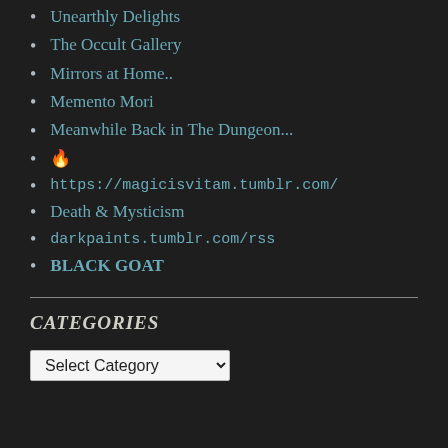Unearthly Delights
The Occult Gallery
Mirrors at Home..
Memento Mori
Meanwhile Back in The Dungeon...
🔥
https://magicisvitam.tumblr.com/
Death & Mysticism
darkpaints.tumblr.com/rss
BLACK GOAT
CATEGORIES